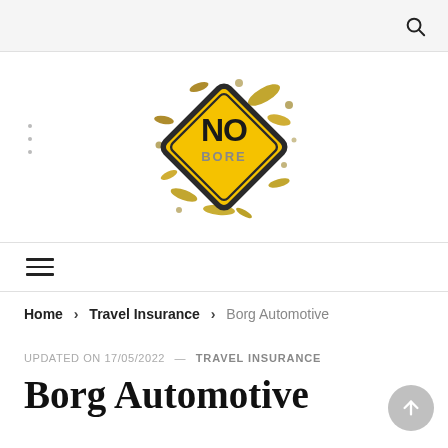[Figure (logo): Website header with search icon on grey background]
[Figure (logo): No Bored website logo — yellow diamond road sign with 'NO BORE' text and splatter graphic]
[Figure (other): Hamburger navigation menu icon (three horizontal lines)]
Home > Travel Insurance > Borg Automotive
UPDATED ON 17/05/2022 — TRAVEL INSURANCE
Borg Automotive